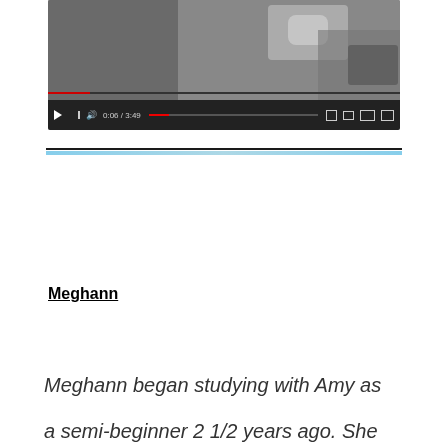[Figure (screenshot): A video player showing a microphone image with playback controls at the bottom, showing time 0:06 / 3:49]
Meghann
Meghann began studying with Amy as a semi-beginner 2 1/2 years ago. She